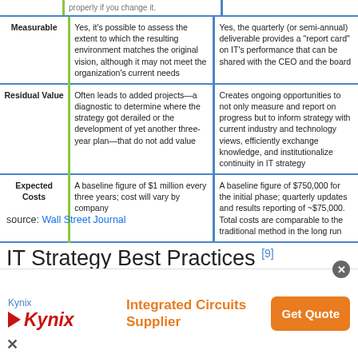|  | Traditional Approach | Iterative Approach |
| --- | --- | --- |
|  | properly if you change it. |  |
| Measurable | Yes, it's possible to assess the extent to which the resulting environment matches the original vision, although it may not meet the organization's current needs | Yes, the quarterly (or semi-annual) deliverable provides a "report card" on IT's performance that can be shared with the CEO and the board |
| Residual Value | Often leads to added projects—a diagnostic to determine where the strategy got derailed or the development of yet another three-year plan—that do not add value | Creates ongoing opportunities to not only measure and report on progress but to inform strategy with current industry and technology views, efficiently exchange knowledge, and institutionalize continuity in IT strategy |
| Expected Costs | A baseline figure of $1 million every three years; cost will vary by company | A baseline figure of $750,000 for the initial phase; quarterly updates and results reporting of ~$75,000. Total costs are comparable to the traditional method in the long run |
source: Wall Street Journal
IT Strategy Best Practices [9]
The rapid advancement of technology is placing IT at the